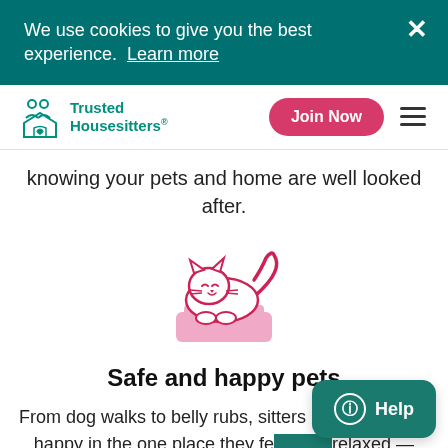We use cookies to give you the best experience. Learn more
[Figure (logo): Trusted Housesitters logo with teal icon and text]
knowing your pets and home are well looked after.
[Figure (illustration): Pink cartoon cat sitting in a litter box, outlined in pink/red on white background]
Safe and happy pets
From dog walks to belly rubs, sitters keep your pets happy in the one place they feel most relaxed — their own home.